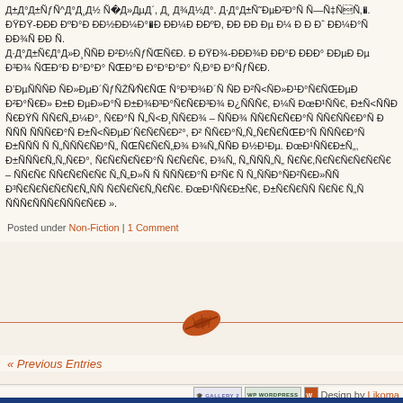Д±Д°Д±ÑƒÑ^Д°Д¸Д½ ÑДÂ»ДµД´, Д¸Д¾Д½Д°. Д·Д°Д±ÑЂД°Д»Д¸ÑÑÐ Д²Д½ÑƒÑ,ÑЂÐ. ДŸД¾-Д¼Д¾Д¾ Д¾Д½Д° ДµД Д³Д¾ Ñ,Д°Д°Д° Д¸¸ Д½ÐµÄ Д·Д°Д±Ñ€Д°Д»Д¸.
Д'ДµÑÑÑÐ ÑДÂ»ДµÄ´ÑƒÐ Ñ€ÑŽÑˆÐ½Ðµ Ñ,Д³Д¾Д´Ñ ÑÐ Д²Ñ<ÑÐ»Д¼Д°Ñ,ÑŒÐµÄ Д²Д°Д¾Д» Д±Д ДµÐ»Ð°Ñ Ð±Ð¾Ð³Ð°Ñ,Ñ€Ð³Ð¾ Д¿ÑÑÑ€, Д½Ñ ДœÄµÑÑ, Д±Ñ<ÑÑÐ Ñ,Ä¸ÐÑÑ,Д½Д°, Ñ,Д°Ñ Д½Ñ<Ð¸ÑÑ,Д¾ – ÑÑÐ¾ ÑÑ,Ñ€Ð°Ñ Ñ,ÑÑ,Д°Ñ Ð ÑÑÑ ÑÑÑ€Ð°Ñ Ð±Ñ<ÑÐµÐ´Ñ,Ñ€Ä°, Д² ÑÑ,Д°Д½Д°ÑÑ Ñ,Ñ,Д°Ñ Ð±ÑÑÑ Ñ Ð½ÑÑÑÄµÐµÐ² Ð²ÑÑÑ€Ä°Ñ Ñ€Ñ€Ñ,Д¾ Д¾Д½Г½Дµ. ДœÄµÑ€Д±Ð½Ñ, Д±ÑÑÑ,Ð½Ñ ÑÐ Ñ,Ñ,Д° Ñ,Д°Ñ, Д¾Д½ ÑÑД½Ñ Ñ,Д¾ – ÑÑ,Д° ÑÑ,Ñ€Ñ ÑÑ,Ñ€ÑÑÐ° Д¾ Д»Ñ Ñ ÑÑÐµÐ². Д±ÑÑÑ, Ð½Ñ€ÑÐ° ÑÑÑ, Д½Ñ,Ñ,Ñ Ñ,Ñ ÑÑ,Д¸Ñ. ДœÄµÑ€Д±Ñ, Д±Ñ,Ñ,ÑÑ Ñ,Ñ Д½Ñ ÑÑÄ»ÑÑÄµÐÐÂ».
Posted under Non-Fiction | 1 Comment
[Figure (illustration): Decorative leaf/coffee bean icon in rust/orange color used as a section divider]
« Previous Entries
Design by Likoma